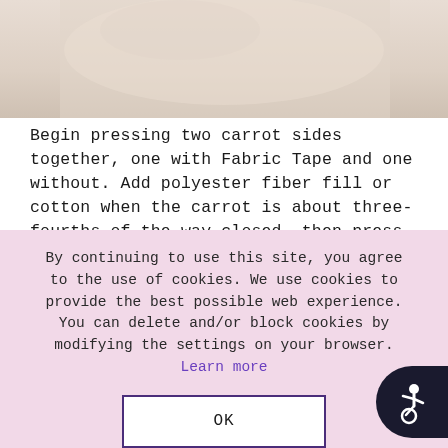[Figure (photo): Partial view of a craft project showing fabric/material, light beige/cream colored background]
Begin pressing two carrot sides together, one with Fabric Tape and one without. Add polyester fiber fill or cotton when the carrot is about three-fourths of the way closed, then press the edges together on the long sides to close completely. Leave the top of the carrot unsealed to add greenery.
By continuing to use this site, you agree to the use of cookies. We use cookies to provide the best possible web experience.
You can delete and/or block cookies by modifying the settings on your browser. Learn more
OK